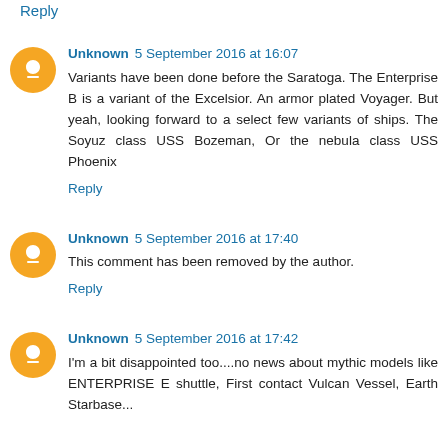Reply
Unknown 5 September 2016 at 16:07
Variants have been done before the Saratoga. The Enterprise B is a variant of the Excelsior. An armor plated Voyager. But yeah, looking forward to a select few variants of ships. The Soyuz class USS Bozeman, Or the nebula class USS Phoenix
Reply
Unknown 5 September 2016 at 17:40
This comment has been removed by the author.
Reply
Unknown 5 September 2016 at 17:42
I'm a bit disappointed too....no news about mythic models like ENTERPRISE E shuttle, First contact Vulcan Vessel, Earth Starbase...